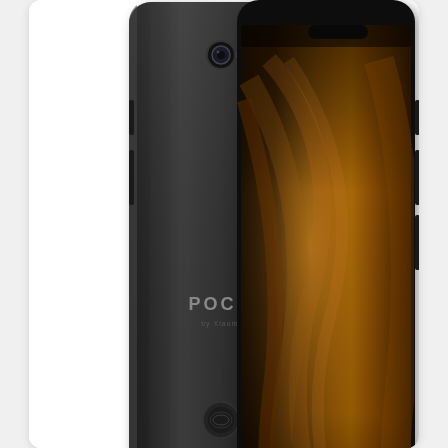[Figure (photo): Pocophone F1 smartphone product photo showing back (matte black with POCO logo) and front (with golden/amber wave wallpaper) side by side]
Pocophone F1